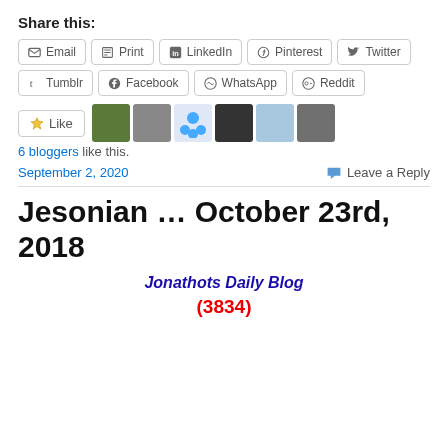Share this:
Email | Print | LinkedIn | Pinterest | Twitter
Tumblr | Facebook | WhatsApp | Reddit
[Figure (other): Like button and 6 blogger avatars]
6 bloggers like this.
September 2, 2020   Leave a Reply
Jesonian … October 23rd, 2018
Jonathots Daily Blog
(3834)